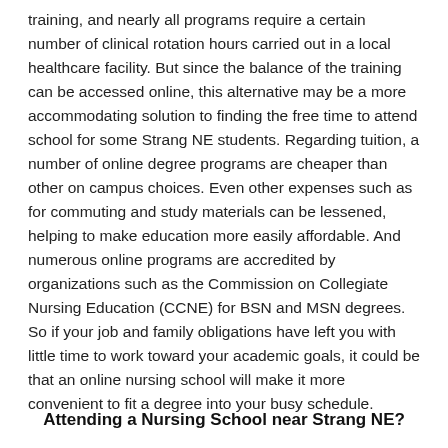training, and nearly all programs require a certain number of clinical rotation hours carried out in a local healthcare facility. But since the balance of the training can be accessed online, this alternative may be a more accommodating solution to finding the free time to attend school for some Strang NE students. Regarding tuition, a number of online degree programs are cheaper than other on campus choices. Even other expenses such as for commuting and study materials can be lessened, helping to make education more easily affordable. And numerous online programs are accredited by organizations such as the Commission on Collegiate Nursing Education (CCNE) for BSN and MSN degrees. So if your job and family obligations have left you with little time to work toward your academic goals, it could be that an online nursing school will make it more convenient to fit a degree into your busy schedule.
Attending a Nursing School near Strang NE?